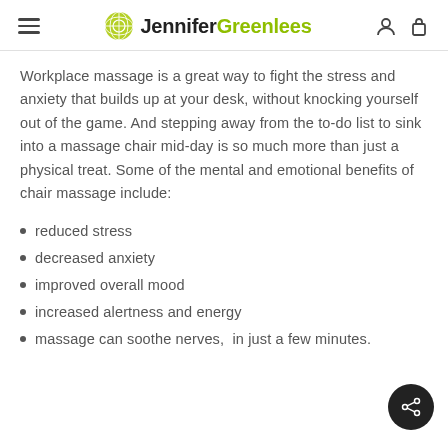Jennifer Greenlees
Workplace massage is a great way to fight the stress and anxiety that builds up at your desk, without knocking yourself out of the game. And stepping away from the to-do list to sink into a massage chair mid-day is so much more than just a physical treat. Some of the mental and emotional benefits of chair massage include:
reduced stress
decreased anxiety
improved overall mood
increased alertness and energy
massage can soothe nerves,  in just a few minutes.